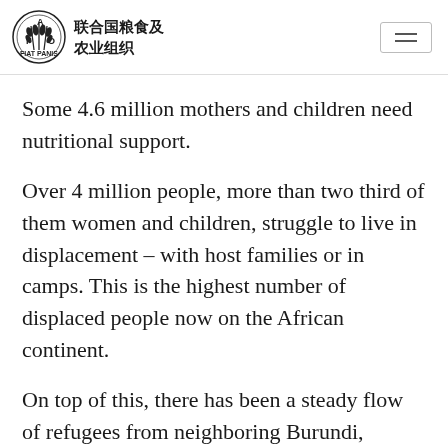联合国粮食及农业组织 FAO
Some 4.6 million mothers and children need nutritional support.
Over 4 million people, more than two third of them women and children, struggle to live in displacement – with host families or in camps. This is the highest number of displaced people now on the African continent.
On top of this, there has been a steady flow of refugees from neighboring Burundi, Central African Republic and South Sudan but also from DRC to Uganda and Angola.